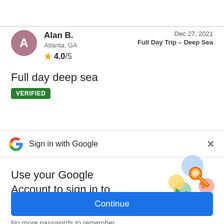Alan B.
Atlanta, GA
★ 4.0/5
Dec 27, 2021
Full Day Trip – Deep Sea
Full day deep sea
VERIFIED
Sign in with Google
Use your Google Account to sign in to FishingBooker
[Figure (illustration): Google key illustration with colorful overlapping circles]
No more passwords to remember.
Signing in is fast, simple and secure.
Continue